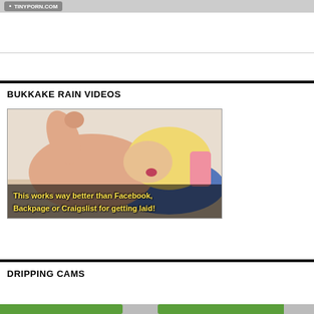TINYPORN.COM
BUKKAKE RAIN VIDEOS
[Figure (photo): A blonde person lying on a bed with a blue pillow, mouth open, arm raised with fist. Overlay text reads: This works way better than Facebook, Backpage or Craigslist for getting laid!]
DRIPPING CAMS